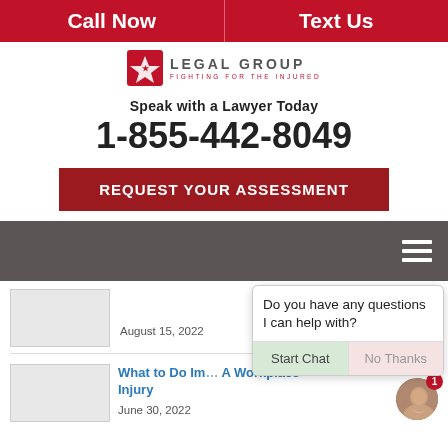Call Now | Text Us
[Figure (logo): Legal Group logo with star icon and text LEGAL GROUP FIGHTING FOR THE INJURED]
Speak with a Lawyer Today
1-855-442-8049
REQUEST YOUR ASSESSMENT
[Figure (screenshot): Dark gray navigation bar with hamburger menu icon on right]
August 15, 2022
What to Do Im[mediately After] A Workplace Injury
June 30, 2022
Do you have any questions I can help with?
Start Chat | No Thanks